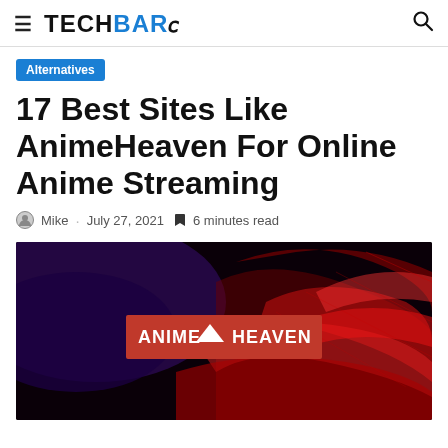≡ TECHBARZ [search icon]
Alternatives
17 Best Sites Like AnimeHeaven For Online Anime Streaming
Mike · July 27, 2021 🔖 6 minutes read
[Figure (photo): Hero image showing AnimeHeaven logo text on a dark background with red and purple abstract wave/mesh graphics]